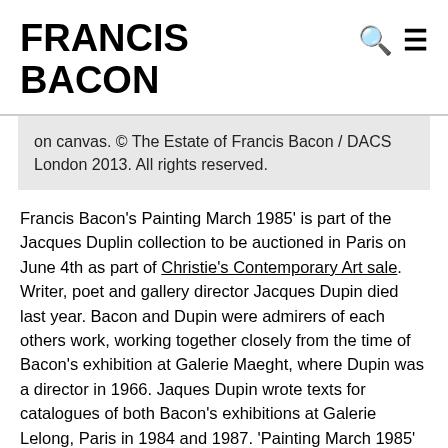FRANCIS BACON
on canvas. © The Estate of Francis Bacon / DACS London 2013. All rights reserved.
Francis Bacon's Painting March 1985' is part of the Jacques Duplin collection to be auctioned in Paris on June 4th as part of Christie's Contemporary Art sale. Writer, poet and gallery director Jacques Dupin died last year. Bacon and Dupin were admirers of each others work, working together closely from the time of Bacon's exhibition at Galerie Maeght, where Dupin was a director in 1966. Jaques Dupin wrote texts for catalogues of both Bacon's exhibitions at Galerie Lelong, Paris in 1984 and 1987. 'Painting March 1985' featured in the September 1987 Galerie Lelong exhibition. It was gifted to Jacques Dupin by Bacon at the same time as a mark of their friendship, and no doubt Bacon's gratitude for the prefaces Dupin had contributed. Two years later Bacon was commissioned to paint Dupin by the French Ministry of Culture resulting in 'Portrait of Jacques Dupin (1990).